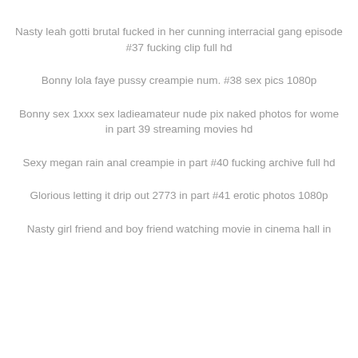Nasty leah gotti brutal fucked in her cunning interracial gang episode #37 fucking clip full hd
Bonny lola faye pussy creampie num. #38 sex pics 1080p
Bonny sex 1xxx sex ladieamateur nude pix naked photos for wome in part 39 streaming movies hd
Sexy megan rain anal creampie in part #40 fucking archive full hd
Glorious letting it drip out 2773 in part #41 erotic photos 1080p
Nasty girl friend and boy friend watching movie in cinema hall in